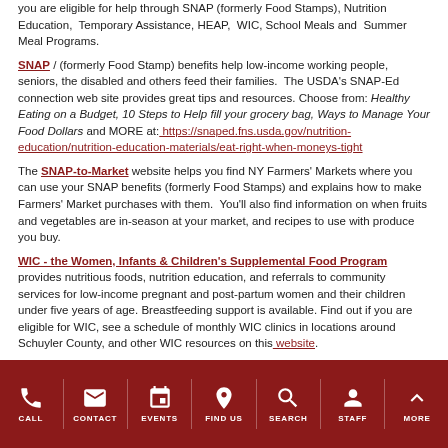you are eligible for help through SNAP (formerly Food Stamps), Nutrition Education, Temporary Assistance, HEAP, WIC, School Meals and Summer Meal Programs.
SNAP / (formerly Food Stamp) benefits help low-income working people, seniors, the disabled and others feed their families. The USDA's SNAP-Ed connection web site provides great tips and resources. Choose from: Healthy Eating on a Budget, 10 Steps to Help fill your grocery bag, Ways to Manage Your Food Dollars and MORE at: https://snaped.fns.usda.gov/nutrition-education/nutrition-education-materials/eat-right-when-moneys-tight
The SNAP-to-Market website helps you find NY Farmers' Markets where you can use your SNAP benefits (formerly Food Stamps) and explains how to make Farmers' Market purchases with them. You'll also find information on when fruits and vegetables are in-season at your market, and recipes to use with produce you buy.
WIC - the Women, Infants & Children's Supplemental Food Program provides nutritious foods, nutrition education, and referrals to community services for low-income pregnant and post-partum women and their children under five years of age. Breastfeeding support is available. Find out if you are eligible for WIC, see a schedule of monthly WIC clinics in locations around Schuyler County, and other WIC resources on this website.
CALL | CONTACT | EVENTS | FIND US | SEARCH | STAFF | MORE